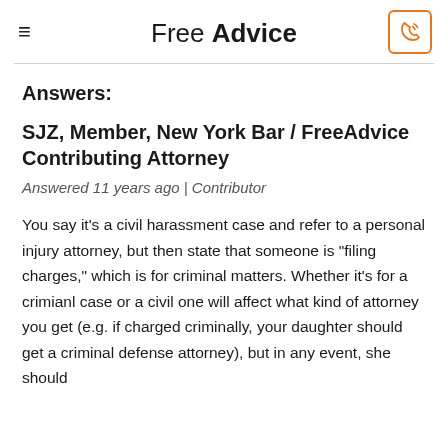Free Advice
Answers:
SJZ, Member, New York Bar / FreeAdvice Contributing Attorney
Answered 11 years ago | Contributor
You say it's a civil harassment case and refer to a personal injury attorney, but then state that someone is "filing charges," which is for criminal matters. Whether it's for a crimianl case or a civil one will affect what kind of attorney you get (e.g. if charged criminally, your daughter should get a criminal defense attorney), but in any event, she should